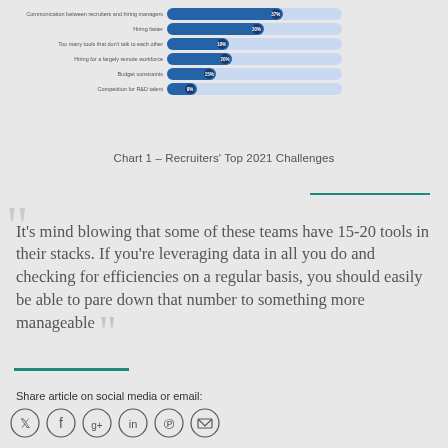[Figure (bar-chart): Recruiters' Top 2021 Challenges]
Chart 1 – Recruiters' Top 2021 Challenges
It's mind blowing that some of these teams have 15-20 tools in their stacks. If you're leveraging data in all you do and checking for efficiencies on a regular basis, you should easily be able to pare down that number to something more manageable
Share article on social media or email: